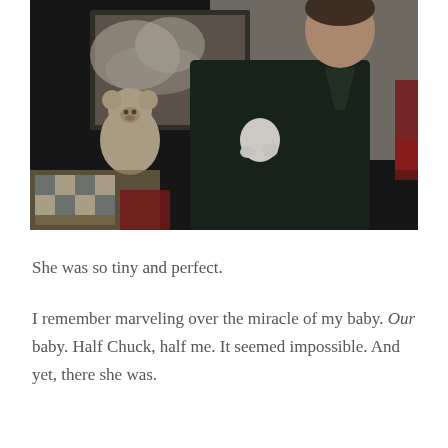[Figure (photo): A man in a dark jacket holding a newborn baby dressed in white. In the background there is a framed picture on the wall and a stuffed teddy bear. The setting appears to be a home interior.]
She was so tiny and perfect.
I remember marveling over the miracle of my baby. Our baby. Half Chuck, half me. It seemed impossible. And yet, there she was.